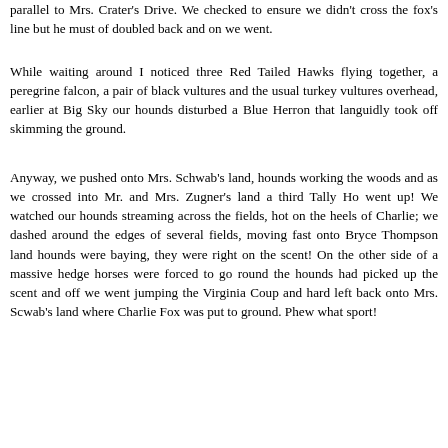parallel to Mrs. Crater's Drive.  We checked to ensure we didn't cross the fox's line but he must of doubled back and on we went.
While waiting around I noticed three Red Tailed Hawks flying together, a peregrine falcon, a pair of black vultures and the usual turkey vultures overhead, earlier at Big Sky our hounds disturbed a Blue Herron that languidly took off skimming the ground.
Anyway, we pushed onto Mrs. Schwab's land, hounds working the woods and as we crossed into Mr. and Mrs. Zugner's land a third Tally Ho went up!  We watched our hounds streaming across the fields, hot on the heels of Charlie; we dashed around the edges of several fields, moving fast onto Bryce Thompson land hounds were baying, they were right on the scent!  On the other side of a massive hedge horses were forced to go round the hounds had picked up the scent and off we went jumping the Virginia Coup  and hard left back onto Mrs. Scwab's land where Charlie Fox was put to ground.  Phew what sport!